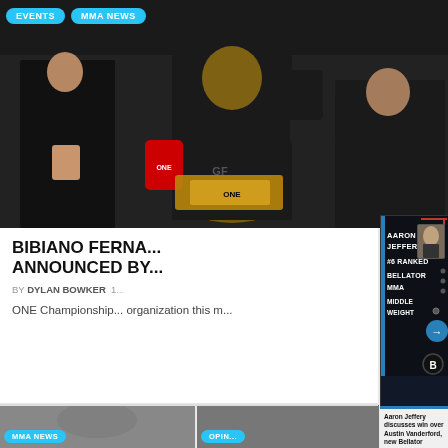[Figure (photo): MMA fighter Bibiano Fernandes holding a championship belt and raising his fist in victory inside a cage, flanked by ring girls and a corner man]
EVENTS
MMA NEWS
BIBIANO FERNA... ANNOUNCED BY...
BY DYLAN BOWKER
ONE Championship... organization this m...
[Figure (infographic): Dark panel with text: AARON JEFFERY #6 RANKED BELLATOR MMA MIDDLEWEIGHT, with a photo of Aaron Jeffery on the right and a circular arrow button]
Aaron Jeffery discusses win over Austin Vanderford, new Bellator contract, and more
MMA NEWS
OPIN...